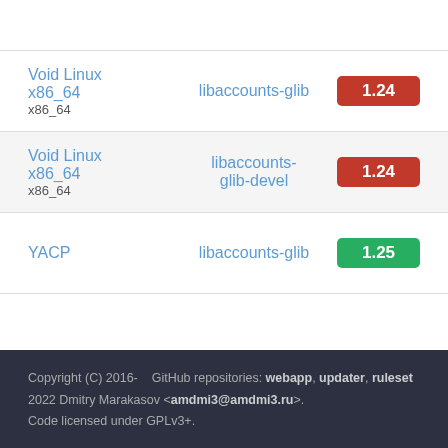| Distro | Package | Version |
| --- | --- | --- |
| Void Linux x86_64 / x86_64 | libaccounts-glib | 1.24 |
| Void Linux x86_64 / x86_64 | libaccounts-glib-devel | 1.24 |
| YACP | libaccounts-glib | 1.25 |
Copyright (C) 2016-2022 Dmitry Marakasov <amdmi3@amdmi3.ru>. Code licensed under GPLv3+. GitHub repositories: webapp, updater, ruleset